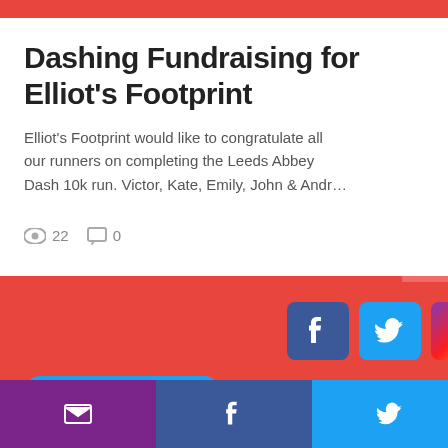Dashing Fundraising for Elliot's Footprint
Elliot's Footprint would like to congratulate all our runners on completing the Leeds Abbey Dash 10k run. Victor, Kate, Emily, John & Andr...
22 views  0 comments
[Figure (infographic): Social media icons: Facebook, Twitter, Instagram buttons in a row]
Follow @ElliotsPrint
Elliot's Footprint is a registered charity in England and Wales. Registered charity number 1155966.
[Figure (infographic): Bottom share bar with email, Facebook, Twitter, gift, and heart icons]